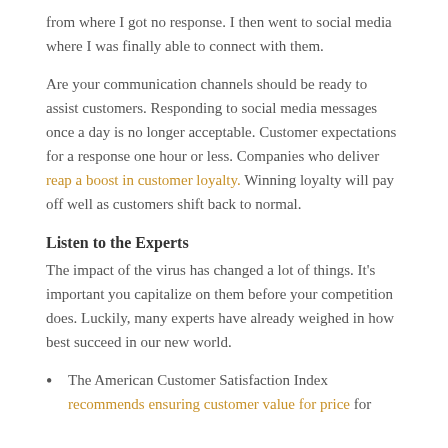from where I got no response.  I then went to social media where I was finally able to connect with them.
Are your communication channels should be ready to assist customers.  Responding to social media messages once a day is no longer acceptable. Customer expectations for a response one hour or less.  Companies who deliver reap a boost in customer loyalty.  Winning loyalty will pay off well as customers shift back to normal.
Listen to the Experts
The impact of the virus has changed a lot of things. It's important you capitalize on them before your competition does.  Luckily, many experts have already weighed in how best succeed in our new world.
The American Customer Satisfaction Index recommends ensuring customer value for price for